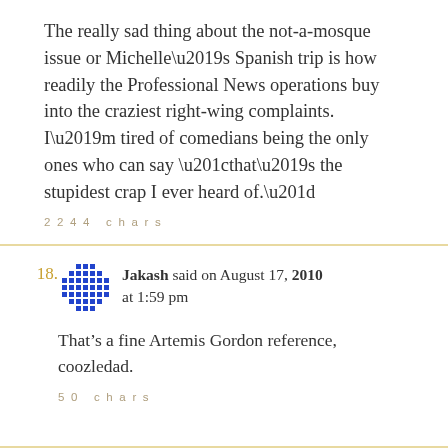The really sad thing about the not-a-mosque issue or Michelle’s Spanish trip is how readily the Professional News operations buy into the craziest right-wing complaints. I’m tired of comedians being the only ones who can say “that’s the stupidest crap I ever heard of.”
2244 chars
18. Jakash said on August 17, 2010 at 1:59 pm
That’s a fine Artemis Gordon reference, coozledad.
50 chars